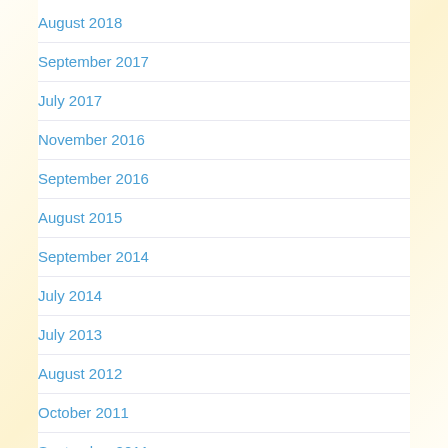August 2018
September 2017
July 2017
November 2016
September 2016
August 2015
September 2014
July 2014
July 2013
August 2012
October 2011
September 2011